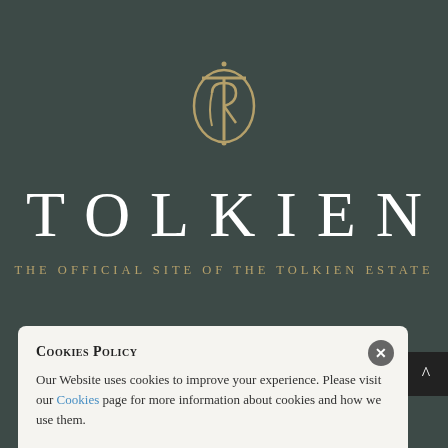[Figure (logo): Tolkien Estate monogram logo — stylized intertwined letters in gold/tan on dark teal-grey background]
TOLKIEN
THE OFFICIAL SITE OF THE Tolkien ESTATE
FAQ | Selected further reading | Credits | Links | Site map
Cookies Policy
Our Website uses cookies to improve your experience. Please visit our Cookies page for more information about cookies and how we use them.